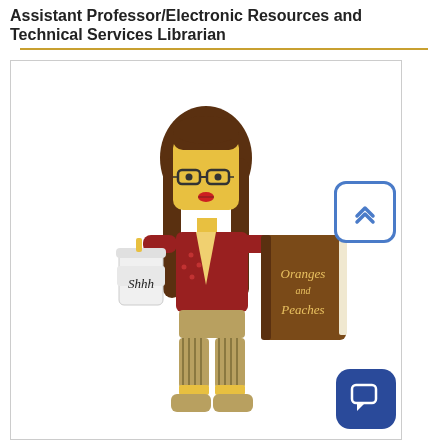Assistant Professor/Electronic Resources and Technical Services Librarian
[Figure (illustration): A LEGO minifigure styled as a librarian with long brown hair, glasses, red cardigan, holding a coffee cup labeled 'Shhh' and a brown book titled 'Oranges and Peaches'. A blue rounded-square back-to-top button (chevron up icon) is in the upper right, and a dark blue chat bubble button is in the lower right.]